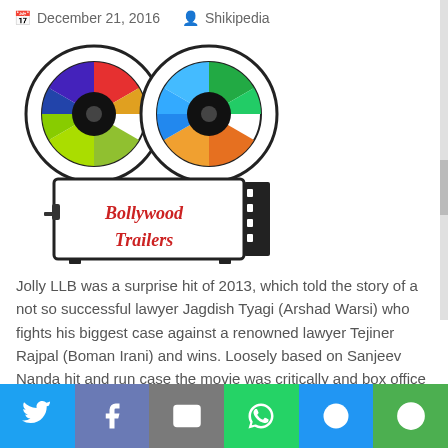December 21, 2016  Shikipedia
[Figure (logo): Bollywood Trailers logo — a colorful film projector with two reels having multi-colored segments, and text 'Bollywood Trailers' written in red cursive on the projector body]
Jolly LLB was a surprise hit of 2013, which told the story of a not so successful lawyer Jagdish Tyagi (Arshad Warsi) who fights his biggest case against a renowned lawyer Tejiner Rajpal (Boman Irani) and wins. Loosely based on Sanjeev Nanda hit and run case the movie was critically and box office success. It fetched National Awards for Best Feature Film in Hindi and Best Supporting Actor to Saurabh Shukla for the role of the judge….
[Figure (photo): Partial movie banner showing a person on the left half with green background, and 'JOLLY' text on the right half with golden/beige background]
Social share bar: Twitter, Facebook, Email, WhatsApp, SMS, More